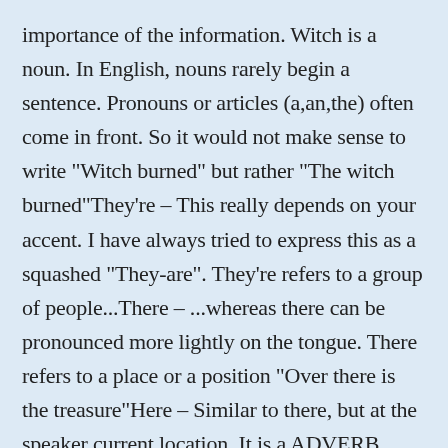importance of the information. Witch is a noun. In English, nouns rarely begin a sentence. Pronouns or articles (a,an,the) often come in front. So it would not make sense to write "Witch burned" but rather "The witch burned"They're – This really depends on your accent. I have always tried to express this as a squashed "They-are". They're refers to a group of people...There – ...whereas there can be pronounced more lightly on the tongue. There refers to a place or a position "Over there is the treasure"Here – Similar to there, but at the speaker current location. It is a ADVERB, ADJECTIVE and a NOUN.Hear – To listen and gain that information. Not the same as "listen"